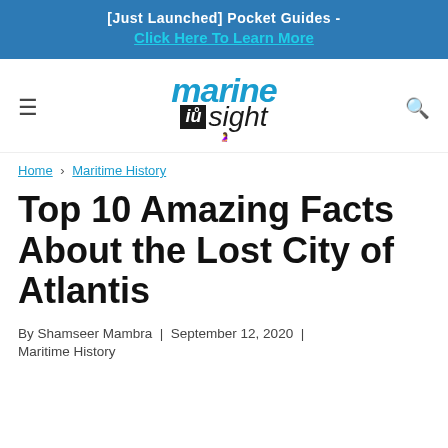[Just Launched] Pocket Guides - Click Here To Learn More
[Figure (logo): Marine Insight logo with stylized marine/sight text]
Home › Maritime History
Top 10 Amazing Facts About the Lost City of Atlantis
By Shamseer Mambra | September 12, 2020 | Maritime History